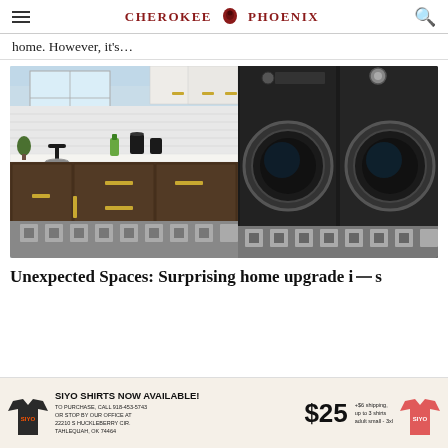Cherokee Phoenix
home. However, it's...
[Figure (photo): Modern laundry room with dark lower cabinets with gold handles, white countertop, black faucet/sink, two black front-loading washer and dryer units, patterned tile floor, and upper white cabinets]
Unexpected Spaces: Surprising home upgrade i — s
[Figure (infographic): Advertisement banner for SIYO shirts. Text: SIYO SHIRTS NOW AVAILABLE! To purchase, call 918-453-5743 or stop by our office at 22210 S Huckleberry Cir, Tahlequah, OK 74464. $25 +$6 shipping, up to 3 shirts, adult small - 3xl. Shows dark and red SIYO t-shirts.]